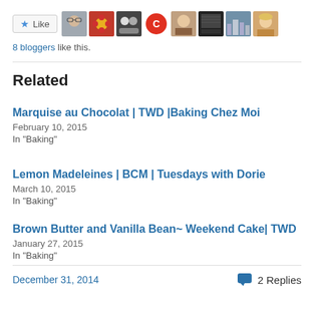[Figure (other): Like button with star icon followed by 8 blogger avatar thumbnails]
8 bloggers like this.
Related
Marquise au Chocolat | TWD |Baking Chez Moi
February 10, 2015
In "Baking"
Lemon Madeleines | BCM | Tuesdays with Dorie
March 10, 2015
In "Baking"
Brown Butter and Vanilla Bean~ Weekend Cake| TWD
January 27, 2015
In "Baking"
December 31, 2014    2 Replies